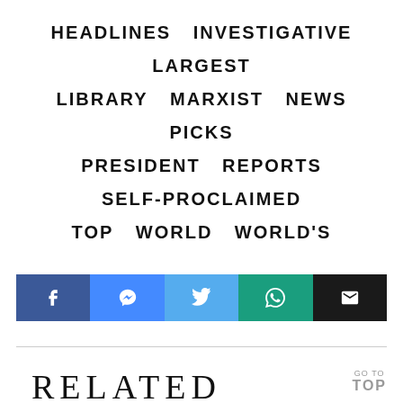HEADLINES  INVESTIGATIVE  LARGEST  LIBRARY  MARXIST  NEWS  PICKS  PRESIDENT  REPORTS  SELF-PROCLAIMED  TOP  WORLD  WORLD'S
[Figure (other): Social sharing buttons row: Facebook, Messenger, Twitter, WhatsApp, Email]
RELATED STORIES
GO TO TOP